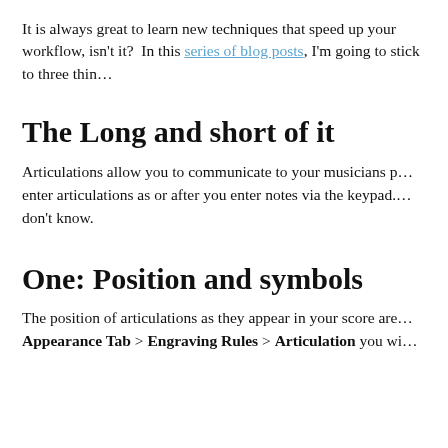It is always great to learn new techniques that speed up your workflow, isn't it?  In this series of blog posts, I'm going to stick to three thin…
The Long and short of it
Articulations allow you to communicate to your musicians p… enter articulations as or after you enter notes via the keypad.… don't know.
One: Position and symbols
The position of articulations as they appear in your score are… Appearance Tab > Engraving Rules > Articulation you wi…